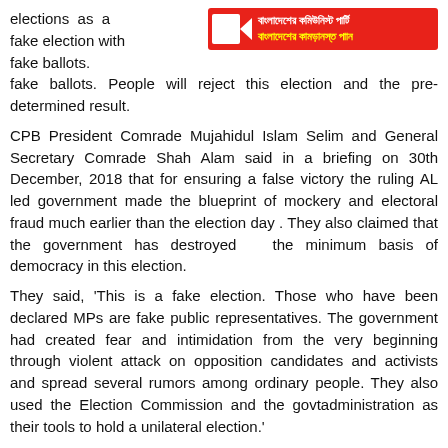elections as a fake election with fake ballots. People will reject this election and the pre-determined result.
[Figure (illustration): Red banner with Bengali text reading Bangladesh Communist Party slogan]
CPB President Comrade Mujahidul Islam Selim and General Secretary Comrade Shah Alam said in a briefing on 30th December, 2018 that for ensuring a false victory the ruling AL led government made the blueprint of mockery and electoral fraud much earlier than the election day . They also claimed that the government has destroyed  the minimum basis of democracy in this election.
They said, 'This is a fake election. Those who have been declared MPs are fake public representatives. The government had created fear and intimidation from the very beginning through violent attack on opposition candidates and activists and spread several rumors among ordinary people. They also used the Election Commission and the govtadministration as their tools to hold a unilateral election.'